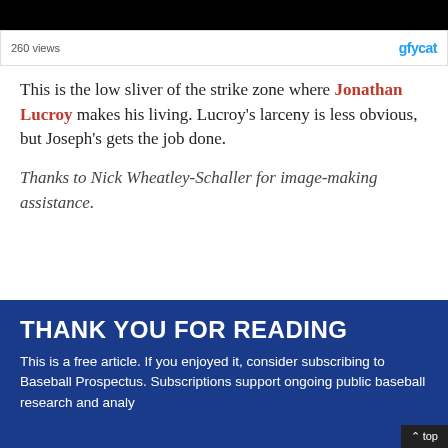[Figure (screenshot): Gfycat embed bar showing 260 views and the gfycat logo]
This is the low sliver of the strike zone where Jonathan Lucroy makes his living. Lucroy's larceny is less obvious, but Joseph's gets the job done.
Thanks to Nick Wheatley-Schaller for image-making assistance.
THANK YOU FOR READING
This is a free article. If you enjoyed it, consider subscribing to Baseball Prospectus. Subscriptions support ongoing public baseball research and analy